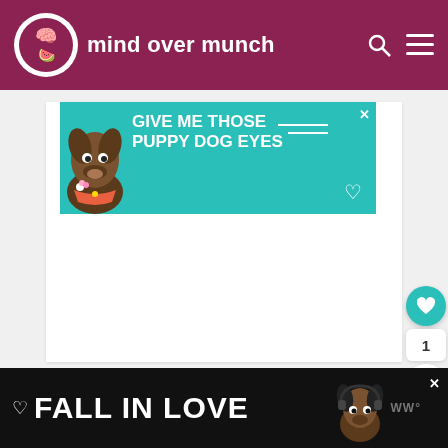mind over munch
[Figure (screenshot): Advertisement banner with teal background showing a dog and text 'GIVE ME THOSE PUPPY DOG EYES' with decorative lines and heart]
[Figure (screenshot): Bottom advertisement with dark background showing text 'FALL IN LOVE' with a dog wearing headphones and WW logo]
1